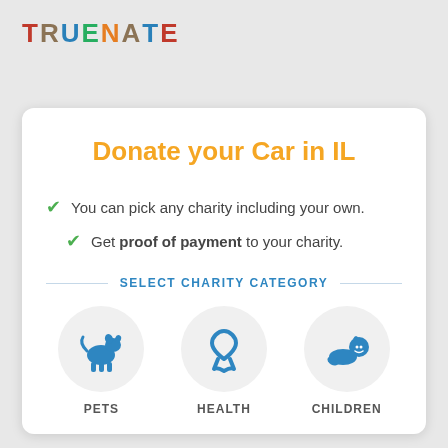TRUENATE
Donate your Car in IL
You can pick any charity including your own.
Get proof of payment to your charity.
SELECT CHARITY CATEGORY
[Figure (illustration): Three circular icons for charity categories: PETS (dog silhouette), HEALTH (awareness ribbon), CHILDREN (baby illustration)]